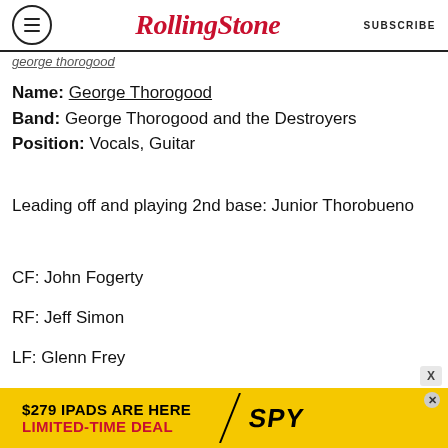Rolling Stone | SUBSCRIBE
george thorogood
Name: George Thorogood
Band: George Thorogood and the Destroyers
Position: Vocals, Guitar
Leading off and playing 2nd base: Junior Thorobueno
CF: John Fogerty
RF: Jeff Simon
LF: Glenn Frey
C: Count Basie
[Figure (infographic): Advertisement banner: '$279 IPADS ARE HERE LIMITED-TIME DEAL' with SPY logo on yellow background]